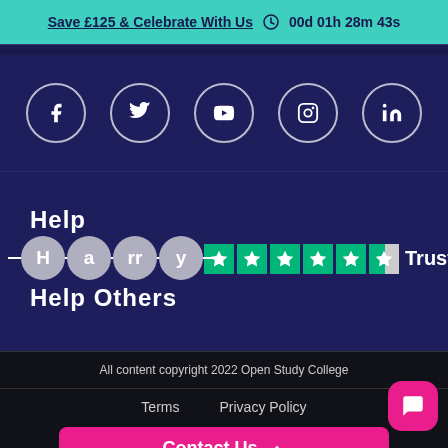Save £125 & Celebrate With Us  00d 01h 28m 43s
[Figure (illustration): Social media icons: Facebook, Twitter, YouTube, Instagram, LinkedIn in white circles on dark navy background]
[Figure (logo): Help Harry Help Others charity logo with grey circles and white text on dark navy background]
[Figure (illustration): Trustpilot rating showing 5 green stars and Trustpilot text]
All content copyright 2022 Open Study College
Terms  Privacy Policy
Contact Us